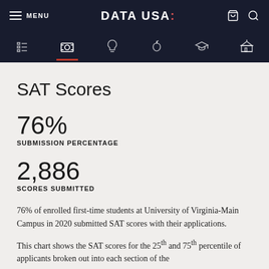MENU | DATA USA: | (cart) (search)
SAT Scores
76%
SUBMISSION PERCENTAGE
2,886
SCORES SUBMITTED
76% of enrolled first-time students at University of Virginia-Main Campus in 2020 submitted SAT scores with their applications.
This chart shows the SAT scores for the 25th and 75th percentile of applicants broken out into each section of the